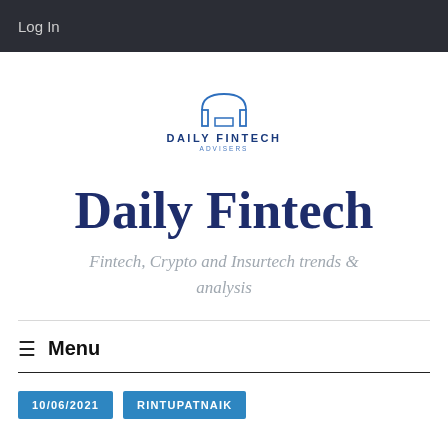Log In
[Figure (logo): Daily Fintech Advisers logo with arch icon, text DAILY FINTECH ADVISERS]
Daily Fintech
Fintech, Crypto and Insurtech trends & analysis
Menu
10/06/2021
RINTUPATNAIK